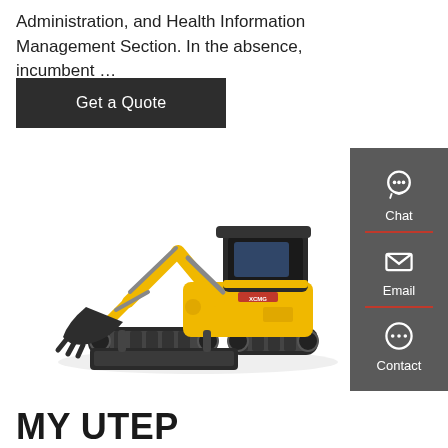Administration, and Health Information Management Section. In the absence, incumbent …
Get a Quote
[Figure (photo): Yellow XCMG mini excavator with black cab, arm extended with bucket, on tracked undercarriage with front blade attachment]
[Figure (infographic): Dark grey sidebar with Chat (headset icon), Email (envelope icon), and Contact (speech bubble icon) with red dividers]
MY UTEP